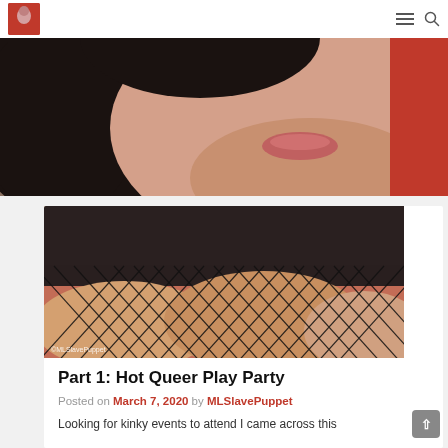Navigation header with logo, hamburger menu, and search icon
[Figure (photo): Close-up photo of a person's lower face and chin with dark hair and red top]
[Figure (photo): Photo of legs wearing fishnet stockings against a dark background, watermark reads ©MLSlavePuppet]
Part 1: Hot Queer Play Party
Posted on March 7, 2020 by MLSlavePuppet
Looking for kinky events to attend I came across this